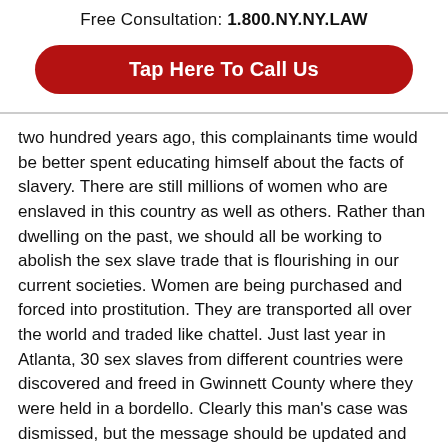Free Consultation: 1.800.NY.NY.LAW
[Figure (other): Red rounded rectangle button with white text: Tap Here To Call Us]
two hundred years ago, this complainants time would be better spent educating himself about the facts of slavery. There are still millions of women who are enslaved in this country as well as others. Rather than dwelling on the past, we should all be working to abolish the sex slave trade that is flourishing in our current societies. Women are being purchased and forced into prostitution. They are transported all over the world and traded like chattel. Just last year in Atlanta, 30 sex slaves from different countries were discovered and freed in Gwinnett County where they were held in a bordello. Clearly this man's case was dismissed, but the message should be updated and applied to educating the